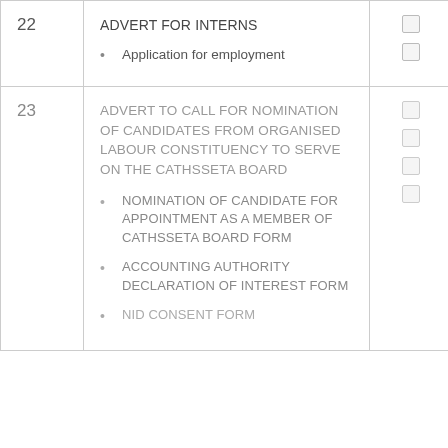| No. | Description | Check |
| --- | --- | --- |
| 22 | ADVERT FOR INTERNS
• Application for employment | ☐☐ |
| 23 | ADVERT TO CALL FOR NOMINATION OF CANDIDATES FROM ORGANISED LABOUR CONSTITUENCY TO SERVE ON THE CATHSSETA BOARD
• NOMINATION OF CANDIDATE FOR APPOINTMENT AS A MEMBER OF CATHSSETA BOARD FORM
• ACCOUNTING AUTHORITY DECLARATION OF INTEREST FORM
• [NID CONSENT FORM...] | ☐☐☐☐ |